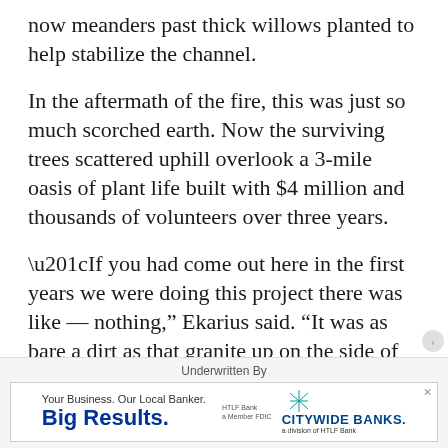now meanders past thick willows planted to help stabilize the channel.
In the aftermath of the fire, this was just so much scorched earth. Now the surviving trees scattered uphill overlook a 3-mile oasis of plant life built with $4 million and thousands of volunteers over three years.
“If you had come out here in the first years we were doing this project there was like — nothing,” Ekarius said. “It was as bare a dirt as that granite up on the side of that slope.”
Underwritten By
[Figure (other): Citywide Banks advertisement banner: 'Your Business. Our Local Banker. Big Results.' with HTLF Bank and Citywide Banks logos]